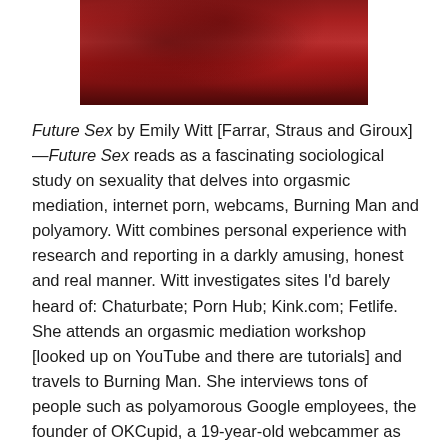[Figure (photo): Dark red textured image, appears to be an abstract or close-up red surface, partial crop at top of page]
Future Sex by Emily Witt [Farrar, Straus and Giroux]—Future Sex reads as a fascinating sociological study on sexuality that delves into orgasmic mediation, internet porn, webcams, Burning Man and polyamory. Witt combines personal experience with research and reporting in a darkly amusing, honest and real manner. Witt investigates sites I'd barely heard of: Chaturbate; Porn Hub; Kink.com; Fetlife. She attends an orgasmic mediation workshop [looked up on YouTube and there are tutorials] and travels to Burning Man. She interviews tons of people such as polyamorous Google employees, the founder of OKCupid, a 19-year-old webcammer as well as a woman who creates female-centered porn. Witt doesn't